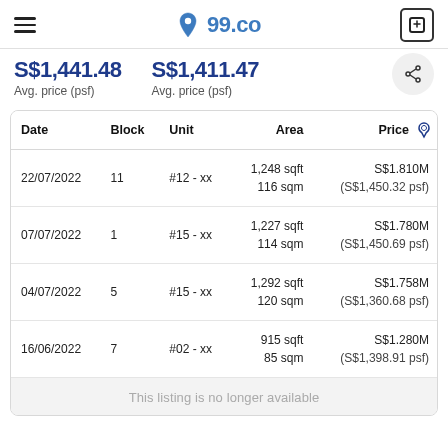99.co
S$1,441.48 Avg. price (psf)   S$1,411.47 Avg. price (psf)
| Date | Block | Unit | Area | Price |
| --- | --- | --- | --- | --- |
| 22/07/2022 | 11 | #12 - xx | 1,248 sqft
116 sqm | S$1.810M
(S$1,450.32 psf) |
| 07/07/2022 | 1 | #15 - xx | 1,227 sqft
114 sqm | S$1.780M
(S$1,450.69 psf) |
| 04/07/2022 | 5 | #15 - xx | 1,292 sqft
120 sqm | S$1.758M
(S$1,360.68 psf) |
| 16/06/2022 | 7 | #02 - xx | 915 sqft
85 sqm | S$1.280M
(S$1,398.91 psf) |
This listing is no longer available